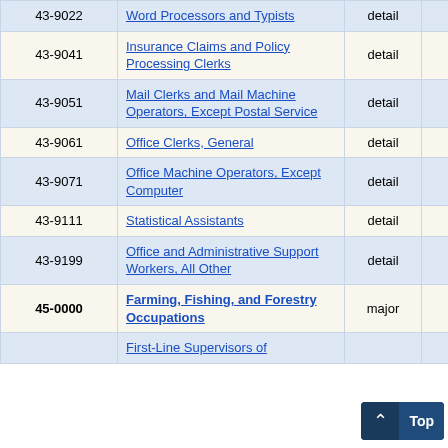| Code | Title | Level | Employment | ... |
| --- | --- | --- | --- | --- |
| 43-9022 | Word Processors and Typists | detail | 910 | 4 |
| 43-9041 | Insurance Claims and Policy Processing Clerks | detail | 1,810 | 9 |
| 43-9051 | Mail Clerks and Mail Machine Operators, Except Postal Service | detail | 670 | 8 |
| 43-9061 | Office Clerks, General | detail | 21,650 | 3 |
| 43-9071 | Office Machine Operators, Except Computer | detail | 260 | 23 |
| 43-9111 | Statistical Assistants | detail | 70 | 23 |
| 43-9199 | Office and Administrative Support Workers, All Other | detail | 910 | 6 |
| 45-0000 | Farming, Fishing, and Forestry Occupations | major | 790 | 23 |
|  | First-Line Supervisors of |  |  |  |